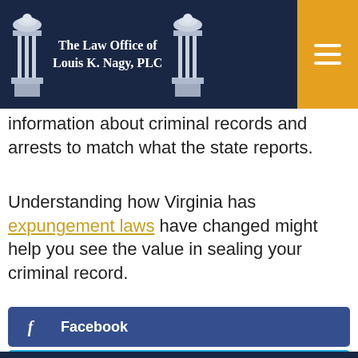The Law Office of Louis K. Nagy, PLC
information about criminal records and arrests to match what the state reports.
Understanding how Virginia has expungement laws have changed might help you see the value in sealing your criminal record.
Facebook
Twitter
LinkedIn